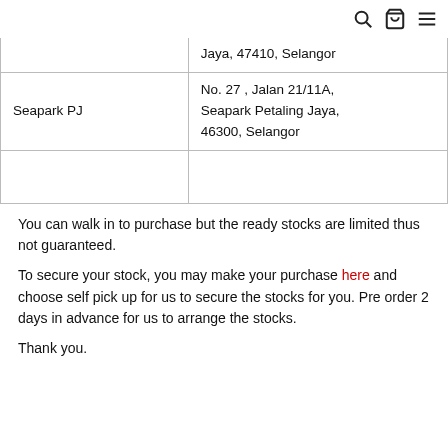[search icon] [bag icon] [menu icon]
|  | Jaya, 47410, Selangor |
| Seapark PJ | No. 27 , Jalan 21/11A, Seapark Petaling Jaya, 46300, Selangor |
|  |  |
You can walk in to purchase but the ready stocks are limited thus not guaranteed.
To secure your stock, you may make your purchase here and choose self pick up for us to secure the stocks for you. Pre order 2 days in advance for us to arrange the stocks.
Thank you.